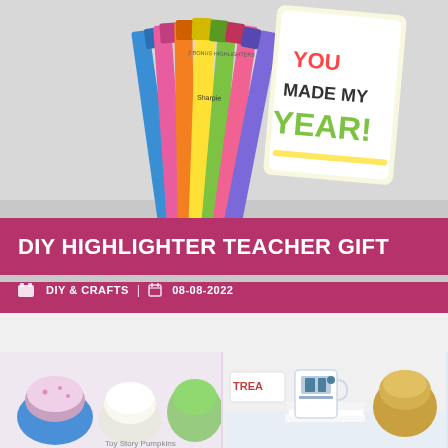[Figure (photo): Sharpie highlighters in multiple neon colors (yellow, green, pink, orange, blue) standing upright with a colorful 'You made my year!' gift tag card behind them, on a light background]
DIY HIGHLIGHTER TEACHER GIFT
DIY & CRAFTS  |  08-08-2022
[Figure (photo): Toy Story themed painted pumpkins — cupcake-shaped decorative items in blue, pink, and white]
[Figure (photo): R2-D2 and other Star Wars themed mugs/planters on white books next to a pumpkin]
[Figure (photo): A light blue pumpkin with colorful pom-poms and a polka-dot bordered tag showing '20+']
[Figure (photo): Green monster-themed decorated gift bag with red ribbon and colorful button eyes]